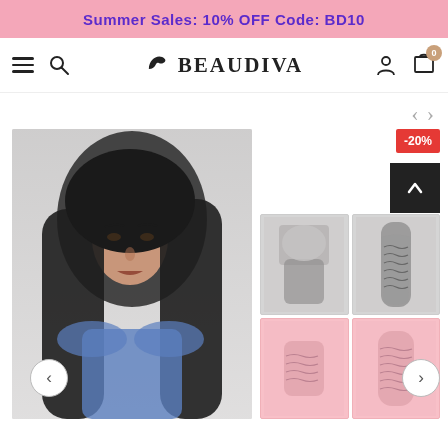Summer Sales: 10% OFF Code: BD10
[Figure (screenshot): Beaudiva hair products e-commerce website navbar with hamburger menu, search icon, Beaudiva logo, user account icon and cart with 0 items badge]
[Figure (photo): Woman with long straight dark hair wearing blue outfit, product page main photo with left/right navigation arrows and -20% discount badge on right side. Right side shows deep wave hair bundles with closure products in a 2x2 grid layout with pink strip.]